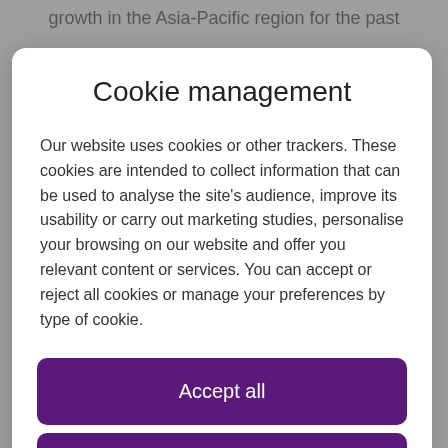growth in the Asia-Pacific region for the past
Cookie management
Our website uses cookies or other trackers. These cookies are intended to collect information that can be used to analyse the site's audience, improve its usability or carry out marketing studies, personalise your browsing on our website and offer you relevant content or services. You can accept or reject all cookies or manage your preferences by type of cookie.
Accept all
Personalise my choices
Reject all